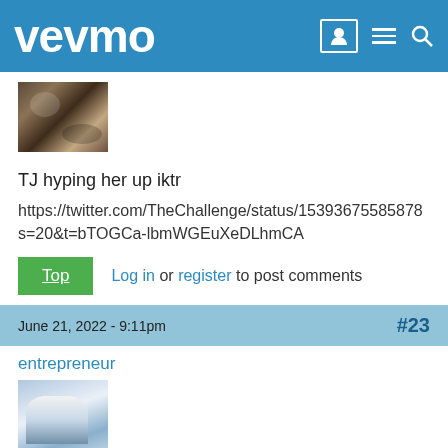vevmo
[Figure (photo): User avatar thumbnail - animal/cat photo]
TJ hyping her up iktr
https://twitter.com/TheChallenge/status/15393675585878
s=20&t=bTOGCa-lbmWGEuXeDLhmCA
Top   Log in or register to post comments
June 21, 2022 - 9:11pm   #23
entrepreneur
[Figure (photo): User avatar thumbnail - person photo]